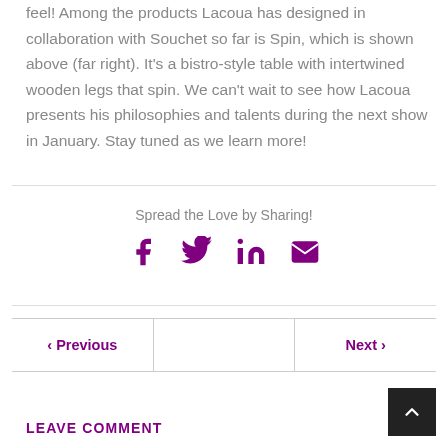feel! Among the products Lacoua has designed in collaboration with Souchet so far is Spin, which is shown above (far right). It's a bistro-style table with intertwined wooden legs that spin. We can't wait to see how Lacoua presents his philosophies and talents during the next show in January. Stay tuned as we learn more!
Spread the Love by Sharing!
[Figure (infographic): Social sharing icons: Facebook (f), Twitter (bird), LinkedIn (in), Email (envelope) — all in purple]
< Previous
Next >
LEAVE COMMENT